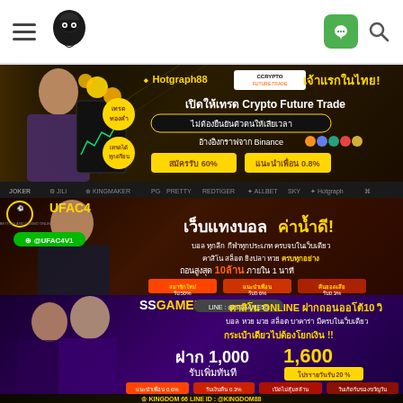[Figure (screenshot): Mobile website navigation bar with hamburger menu, dark ninja logo, green LINE icon, and search icon]
[Figure (screenshot): Hotgraph88 banner advertising Crypto Future Trade in Thailand, with Thai woman, trading charts, gold coins, and promotional offers including 60% signup bonus and 0.8% referral]
[Figure (screenshot): Partner logos bar showing JOKER, KINGMAKER, PG, PRETTY, RED TIGER, and Hotgraph]
[Figure (screenshot): UFAC4 sports betting banner with Thai woman in athletic wear, advertising football betting, casino, slots, fish shooting, lottery - withdraw up to 10M in 1 minute]
[Figure (screenshot): SSGAME56 online casino banner with purple theme, two Thai women, advertising deposit bonus 1,000 get 1,600, 20% daily promotion]
[Figure (screenshot): Partner logos bar 2 showing JOKER, KINGMAKER, PG, PRETTY, 7MOBET, and Hotgraph]
[Figure (screenshot): Kingdom66 banner with gold theme and LINE ID @KINGDOM88]